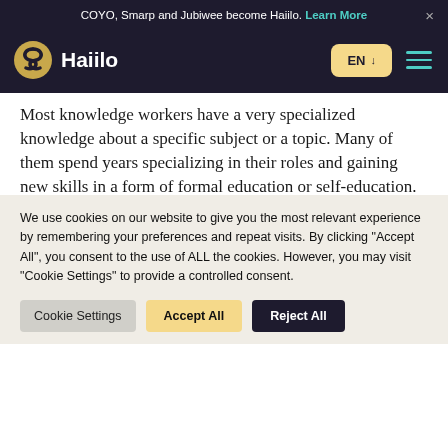COYO, Smarp and Jubiwee become Haiilo. Learn More ×
[Figure (logo): Haiilo logo with swirl icon and text 'Haiilo', plus EN language selector and hamburger menu]
Most knowledge workers have a very specialized knowledge about a specific subject or a topic. Many of them spend years specializing in their roles and gaining new skills in a form of formal education or self-education.
We use cookies on our website to give you the most relevant experience by remembering your preferences and repeat visits. By clicking "Accept All", you consent to the use of ALL the cookies. However, you may visit "Cookie Settings" to provide a controlled consent.
Cookie Settings
Accept All
Reject All